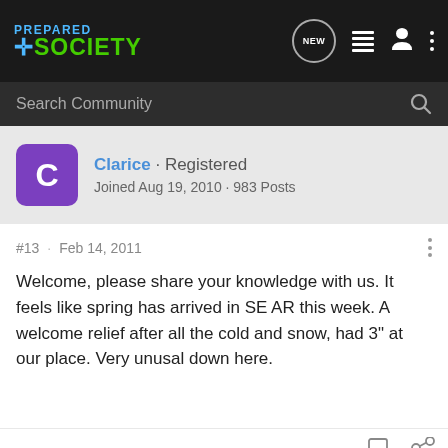[Figure (screenshot): Prepared Society forum website screenshot with navigation bar containing logo, NEW button, list icon, person icon, and dots menu]
Search Community
Clarice · Registered
Joined Aug 19, 2010 · 983 Posts
#13 · Feb 14, 2011
Welcome, please share your knowledge with us. It feels like spring has arrived in SE AR this week. A welcome relief after all the cold and snow, had 3" at our place. Very unusal down here.
[Figure (illustration): Advertisement banner: MACRO MEANS MORE. LEARN MORE. P365 XMACRO SIG SAUER with gun image on yellow background]